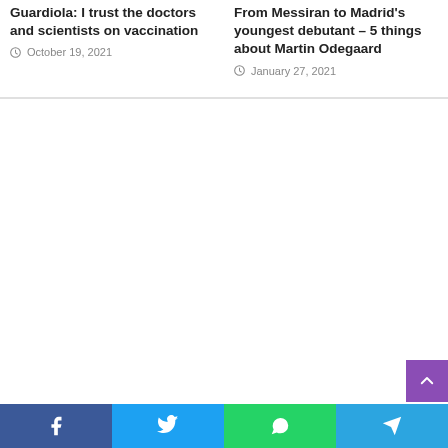Guardiola: I trust the doctors and scientists on vaccination
October 19, 2021
From Messiran to Madrid's youngest debutant – 5 things about Martin Odegaard
January 27, 2021
[Figure (other): Advertisement/empty white area]
[Figure (infographic): Social share bar with Facebook, Twitter, WhatsApp, Telegram buttons]